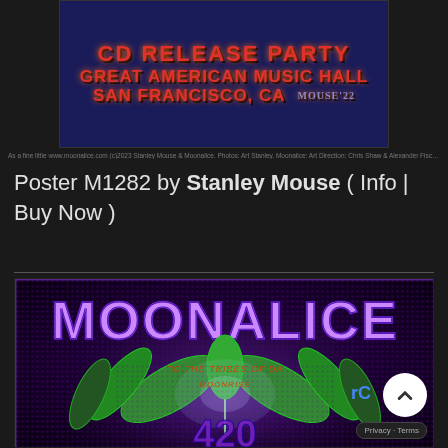[Figure (illustration): Top portion of a concert poster showing 'CD RELEASE PARTY / GREAT AMERICAN MUSIC HALL / SAN FRANCISCO, CA' in red psychedelic lettering on dark blue background with a signature]
As a fine little www.moonalice.com (c)2023 Stanley Mouse & Moonalice. Photos: Art Stanley. Moonalice: Art Direction: Chris Shaw & Alexander Fischer Printing. Inprint.com
Poster M1282 by Stanley Mouse ( Info | Buy Now )
[Figure (illustration): Bottom concert poster image showing MOONALICE in large purple letters with green winged marijuana leaf design on dark purple halftone background, with additional text and a large number at the bottom]